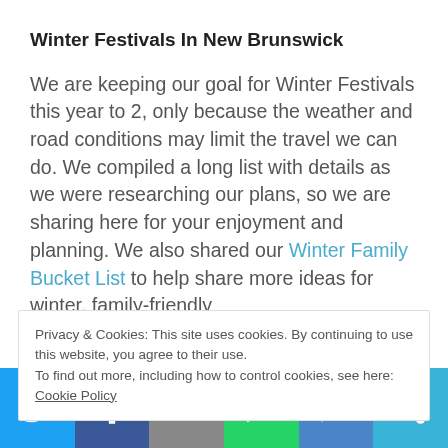Winter Festivals In New Brunswick
We are keeping our goal for Winter Festivals this year to 2, only because the weather and road conditions may limit the travel we can do. We compiled a long list with details as we were researching our plans, so we are sharing here for your enjoyment and planning. We also shared our Winter Family Bucket List to help share more ideas for winter, family-friendly
Privacy & Cookies: This site uses cookies. By continuing to use this website, you agree to their use.
To find out more, including how to control cookies, see here: Cookie Policy
[Figure (infographic): Social sharing bar with Twitter, Facebook, Email, WhatsApp, SMS, and More buttons]